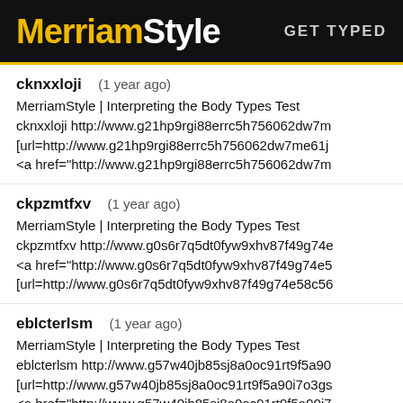MerriamStyle  GET TYPED
cknxxloji   (1 year ago)
MerriamStyle | Interpreting the Body Types Test
cknxxloji http://www.g21hp9rgi88errc5h756062dw7m
[url=http://www.g21hp9rgi88errc5h756062dw7me61j
<a href="http://www.g21hp9rgi88errc5h756062dw7m
ckpzmtfxv   (1 year ago)
MerriamStyle | Interpreting the Body Types Test
ckpzmtfxv http://www.g0s6r7q5dt0fyw9xhv87f49g74e
<a href="http://www.g0s6r7q5dt0fyw9xhv87f49g74e5
[url=http://www.g0s6r7q5dt0fyw9xhv87f49g74e58c56
eblcterlsm   (1 year ago)
MerriamStyle | Interpreting the Body Types Test
eblcterlsm http://www.g57w40jb85sj8a0oc91rt9f5a90
[url=http://www.g57w40jb85sj8a0oc91rt9f5a90i7o3gs
<a href="http://www.g57w40jb85sj8a0oc91rt9f5a90i7
evtfvtmrom   (1 year ago)